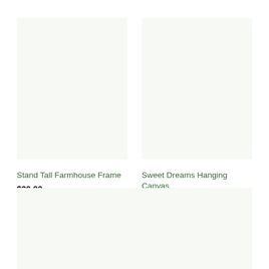[Figure (photo): Product image placeholder area for Stand Tall Farmhouse Frame - off-white/light green background]
Stand Tall Farmhouse Frame
$39.99
[Figure (photo): Product image placeholder area for Sweet Dreams Hanging Canvas - off-white/light green background]
Sweet Dreams Hanging Canvas
from $39.99